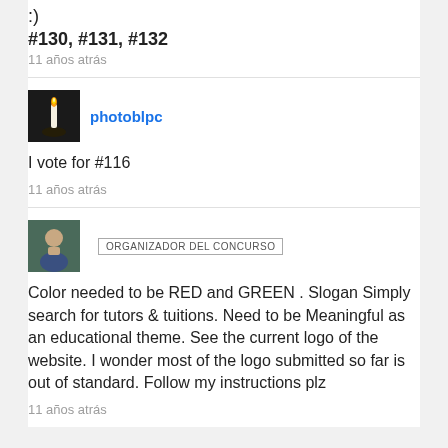:)
#130, #131, #132
11 años atrás
photoblpc
I vote for #116
11 años atrás
ORGANIZADOR DEL CONCURSO
Color needed to be RED and GREEN . Slogan Simply search for tutors & tuitions. Need to be Meaningful as an educational theme. See the current logo of the website. I wonder most of the logo submitted so far is out of standard. Follow my instructions plz
11 años atrás